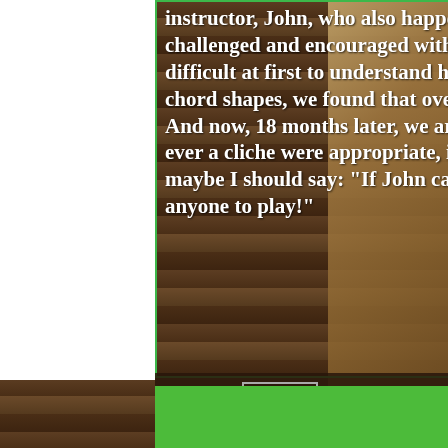instructor, John, who also happens to be the owner, has kept us interested, challenged and encouraged with each lesson and new song.  Despite it being difficult at first to understand how to strum the guitar or learn the basic chord shapes, we found that over time we could actually play several songs.  And now, 18 months later, we are venturing on stage with John's band.  So if ever a cliche were appropriate, it's now: "If I can do it, anyone can!" Or maybe I should say: "If John can teach me to play a guitar, he can teach anyone to play!"
CURTIS D.  LONG BEACH, CA
I love this place. My instructor Nick
[Figure (illustration): Phone/call icon in white on green footer bar]